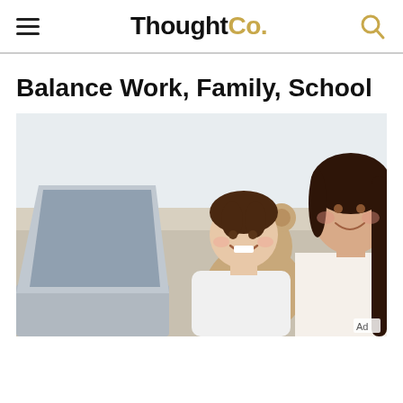ThoughtCo.
Balance Work, Family, School
[Figure (photo): A smiling mother and young daughter looking at a laptop together; the child holds a stuffed teddy bear. An 'Ad' badge appears in the bottom-right corner of the image.]